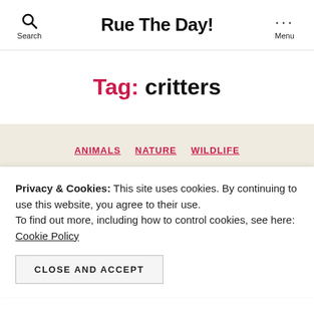Search  Rue The Day!  Menu
Tag: critters
ANIMALS  NATURE  WILDLIFE
Just Look At This Young
Privacy & Cookies: This site uses cookies. By continuing to use this website, you agree to their use. To find out more, including how to control cookies, see here: Cookie Policy
CLOSE AND ACCEPT